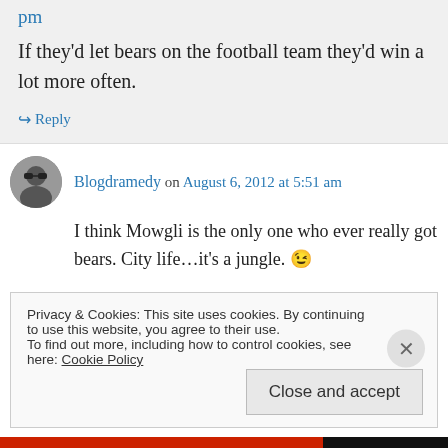pm
If they'd let bears on the football team they'd win a lot more often.
↪ Reply
Blogdramedy on August 6, 2012 at 5:51 am
I think Mowgli is the only one who ever really got bears. City life…it's a jungle. 😉
Privacy & Cookies: This site uses cookies. By continuing to use this website, you agree to their use.
To find out more, including how to control cookies, see here: Cookie Policy